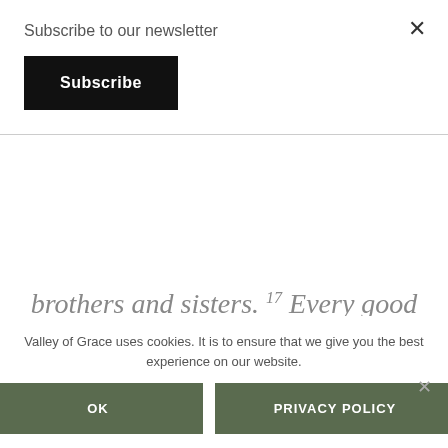Subscribe to our newsletter
Subscribe
brothers and sisters. 17 Every good and perfect gift is from above, coming down from the Father of the heavenly lights, who does not change like shifting
Valley of Grace uses cookies. It is to ensure that we give you the best experience on our website.
OK
PRIVACY POLICY